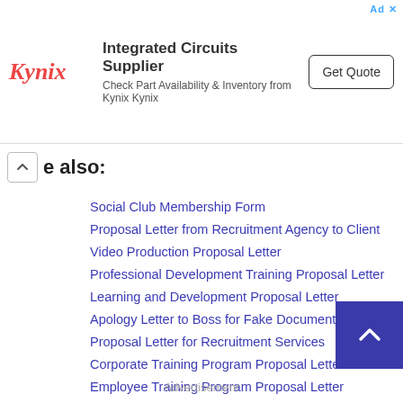[Figure (screenshot): Kynix advertisement banner: Integrated Circuits Supplier, Check Part Availability & Inventory from Kynix Kynix, with a Get Quote button]
See also:
Social Club Membership Form
Proposal Letter from Recruitment Agency to Client
Video Production Proposal Letter
Professional Development Training Proposal Letter
Learning and Development Proposal Letter
Apology Letter to Boss for Fake Documents
Proposal Letter for Recruitment Services
Corporate Training Program Proposal Letter
Employee Training Program Proposal Letter
Recommendation Letter for Recruitment Agent
Advertisement